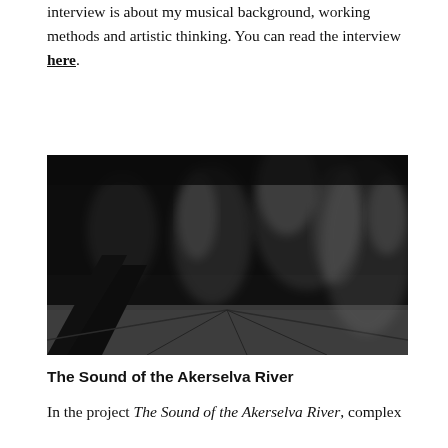interview is about my musical background, working methods and artistic thinking. You can read the interview here.
[Figure (photo): Black and white photograph showing dramatic smoke or mist rising in a dark environment, with dark diagonal shapes at bottom suggesting a floor or structure, and swirling white smoke filling the upper portion.]
The Sound of the Akerselva River
In the project The Sound of the Akerselva River, complex